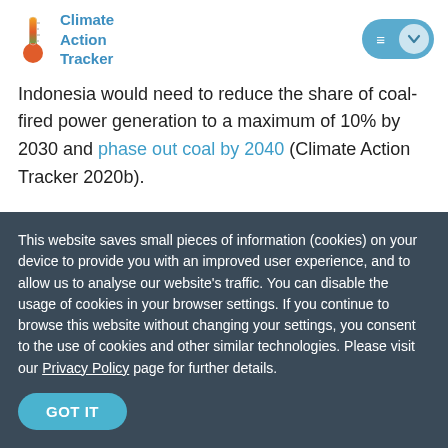Climate Action Tracker
Indonesia would need to reduce the share of coal-fired power generation to a maximum of 10% by 2030 and phase out coal by 2040 (Climate Action Tracker 2020b).
Renewables development has been slow, and current plans do not make full use of Indonesia's renewable energy potential. Renewables accounted for just 11% of added power capacity
This website saves small pieces of information (cookies) on your device to provide you with an improved user experience, and to allow us to analyse our website's traffic. You can disable the usage of cookies in your browser settings. If you continue to browse this website without changing your settings, you consent to the use of cookies and other similar technologies. Please visit our Privacy Policy page for further details.
GOT IT